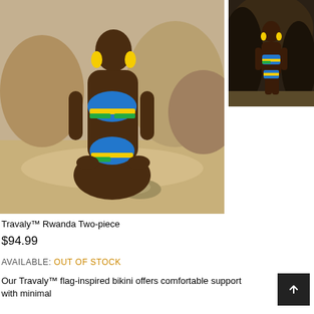[Figure (photo): Main product photo: woman kneeling on beach wearing blue, yellow, and green flag-inspired bikini (Travaly Rwanda Two-piece). Rocky cliff background, sandy beach.]
[Figure (photo): Thumbnail product photo: same woman standing in front of rocky cave wearing the same Travaly Rwanda Two-piece bikini.]
Travaly™ Rwanda Two-piece
$94.99
AVAILABLE: Out Of Stock
Our Travaly™ flag-inspired bikini offers comfortable support with minimal